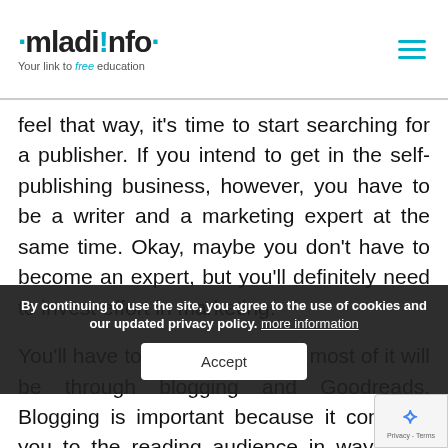mladi!nfo — Your link to free education
feel that way, it's time to start searching for a publisher. If you intend to get in the self-publishing business, however, you have to be a writer and a marketing expert at the same time. Okay, maybe you don't have to become an expert, but you'll definitely need to invest effort in marketing.
You'll have to do the work, and most of it will be through blogging and Goodreads. Blogging is important because it connects you to the reading audience in ways that Goodreads can't. You can publish reviews and opinions, writing tips, and updates regarding your book. Goodreads, on the other hand, is important for promoting yo… work. Start by commenting and posting revie… you'll become an authoritative member of the
By continuing to use the site, you agree to the use of cookies and our updated privacy policy. more information
Accept
Privacy - Terms